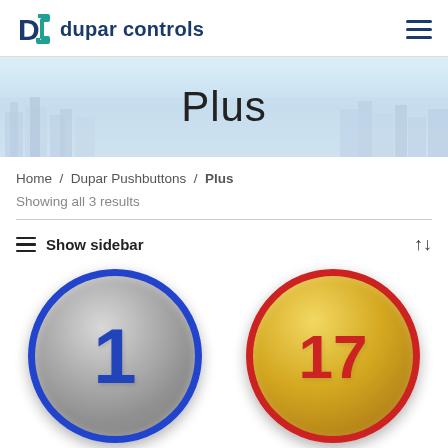[Figure (logo): Dupar Controls logo with teal bracket icon and dark blue text]
[Figure (photo): Hero banner with city skyline background and 'Plus' title overlay]
Home / Dupar Pushbuttons / Plus
Showing all 3 results
Show sidebar
[Figure (photo): Stainless steel round pushbutton with blue ring and number 1 in blue]
[Figure (photo): Gold round pushbutton with red ring and number 17 in red]